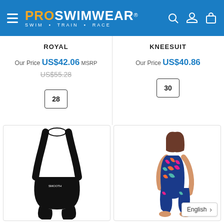PROSWIMWEAR® SWIM · TRAIN · RACE
ROYAL
KNEESUIT
Our Price US$42.06 MSRP
US$55.28
28
Our Price US$40.86
30
[Figure (photo): Black one-piece swimsuit (kneesuit) displayed on a mannequin]
[Figure (photo): Girl wearing a colorful patterned kneesuit swimsuit]
English >